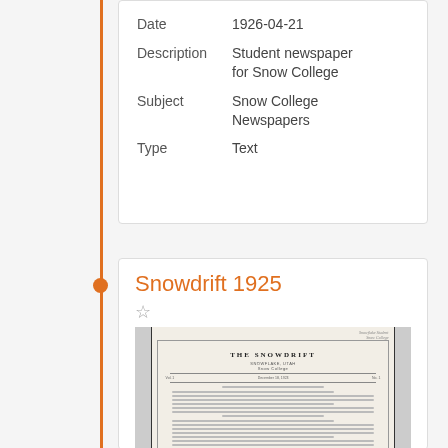| Field | Value |
| --- | --- |
| Date | 1926-04-21 |
| Description | Student newspaper for Snow College |
| Subject | Snow College Newspapers |
| Type | Text |
Snowdrift 1925
[Figure (photo): Thumbnail scan of 'The Snowdrift' newspaper document page showing title header and body text]